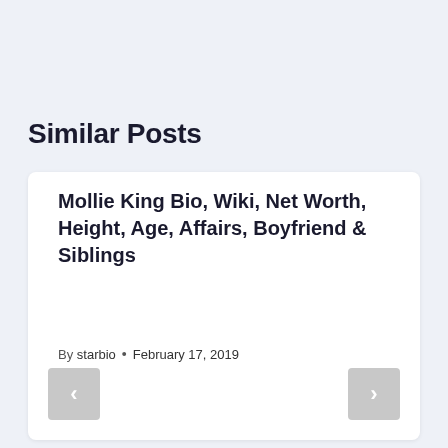Similar Posts
Mollie King Bio, Wiki, Net Worth, Height, Age, Affairs, Boyfriend & Siblings
By starbio • February 17, 2019